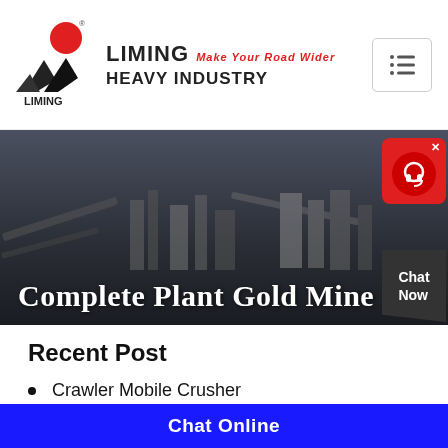[Figure (logo): Liming Heavy Industry logo with red circle and black triangular shapes, and brand name text]
[Figure (photo): Industrial mining/crushing plant machinery photo with dark sky background, showing conveyor belts and processing equipment]
Complete Plant Gold Mine
[Figure (other): Live chat support widget with red background showing a headset icon and Chat Now text]
Recent Post
Crawler Mobile Crusher
MTW-Z European Trapezium-Mill
K Series Mobile Crushing Plant
Chat Online